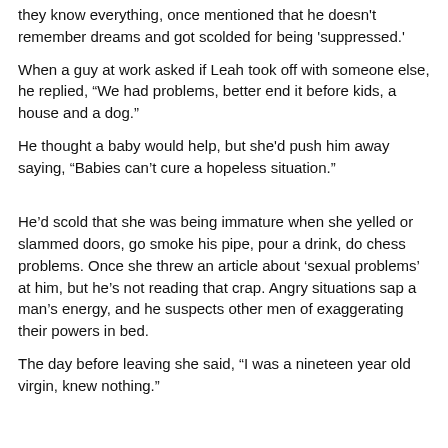they know everything, once mentioned that he doesn't remember dreams and got scolded for being 'suppressed.'
When a guy at work asked if Leah took off with someone else, he replied, “We had problems, better end it before kids, a house and a dog.”
He thought a baby would help, but she'd push him away saying, “Babies can’t cure a hopeless situation.”
He’d scold that she was being immature when she yelled or slammed doors, go smoke his pipe, pour a drink, do chess problems. Once she threw an article about ‘sexual problems’ at him, but he’s not reading that crap. Angry situations sap a man’s energy, and he suspects other men of exaggerating their powers in bed.
The day before leaving she said, “I was a nineteen year old virgin, knew nothing.”